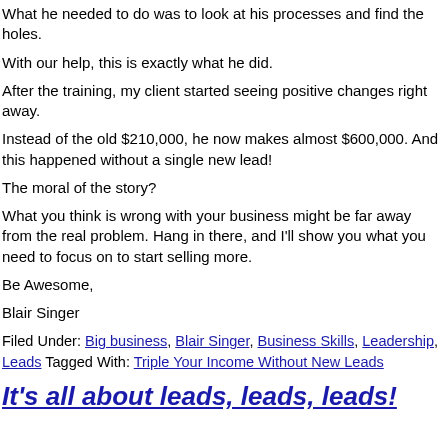What he needed to do was to look at his processes and find the holes.
With our help, this is exactly what he did.
After the training, my client started seeing positive changes right away.
Instead of the old $210,000, he now makes almost $600,000. And this happened without a single new lead!
The moral of the story?
What you think is wrong with your business might be far away from the real problem. Hang in there, and I'll show you what you need to focus on to start selling more.
Be Awesome,
Blair Singer
Filed Under: Big business, Blair Singer, Business Skills, Leadership, Leads Tagged With: Triple Your Income Without New Leads
It's all about leads, leads, leads!